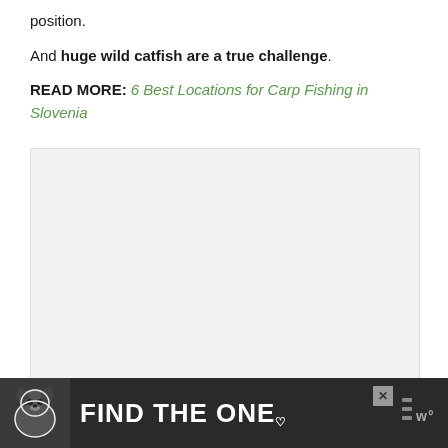position.
And huge wild catfish are a true challenge.
READ MORE: 6 Best Locations for Carp Fishing in Slovenia
[Figure (photo): Large light grey placeholder image block for an embedded photo or video]
[Figure (other): Advertisement banner with dark background showing a dog and text FIND THE ONE with a heart symbol and a close button and brand logo]